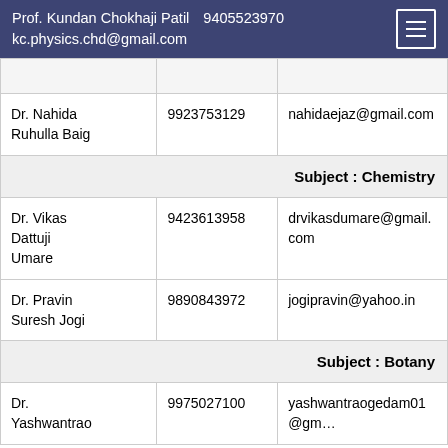Prof. Kundan Chokhaji Patil   9405523970   kc.physics.chd@gmail.com
| Name | Phone | Email |
| --- | --- | --- |
|  |  |  |
| Dr. Nahida Ruhulla Baig | 9923753129 | nahidaejaz@gmail.com |
| Subject : Chemistry |  |  |
| Dr. Vikas Dattuji Umare | 9423613958 | drvikasdumare@gmail.com |
| Dr. Pravin Suresh Jogi | 9890843972 | jogipravin@yahoo.in |
| Subject : Botany |  |  |
| Dr. Yashwantrao | 9975027100 | yashwantraogedam01@gm... |